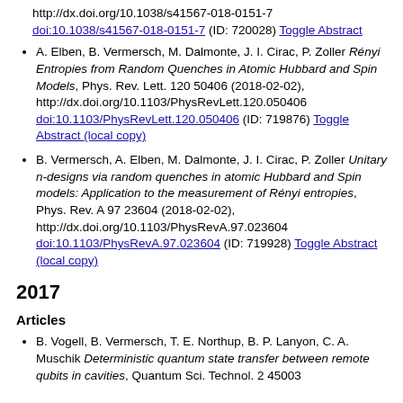http://dx.doi.org/10.1038/s41567-018-0151-7 doi:10.1038/s41567-018-0151-7 (ID: 720028) Toggle Abstract
A. Elben, B. Vermersch, M. Dalmonte, J. I. Cirac, P. Zoller Rényi Entropies from Random Quenches in Atomic Hubbard and Spin Models, Phys. Rev. Lett. 120 50406 (2018-02-02), http://dx.doi.org/10.1103/PhysRevLett.120.050406 doi:10.1103/PhysRevLett.120.050406 (ID: 719876) Toggle Abstract (local copy)
B. Vermersch, A. Elben, M. Dalmonte, J. I. Cirac, P. Zoller Unitary n-designs via random quenches in atomic Hubbard and Spin models: Application to the measurement of Rényi entropies, Phys. Rev. A 97 23604 (2018-02-02), http://dx.doi.org/10.1103/PhysRevA.97.023604 doi:10.1103/PhysRevA.97.023604 (ID: 719928) Toggle Abstract (local copy)
2017
Articles
B. Vogell, B. Vermersch, T. E. Northup, B. P. Lanyon, C. A. Muschik Deterministic quantum state transfer between remote qubits in cavities, Quantum Sci. Technol. 2 45003